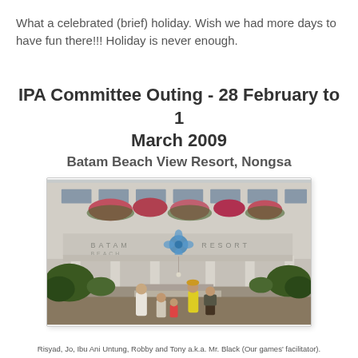What a celebrated (brief) holiday. Wish we had more days to have fun there!!! Holiday is never enough.
IPA Committee Outing - 28 February to 1 March 2009
Batam Beach View Resort, Nongsa
[Figure (photo): Photograph of the exterior of Batam Beach View Resort in Nongsa, showing the hotel facade with large blue floral logo, signage, pillars, tropical plants, and people standing in front of the entrance.]
Risyad, Jo, Ibu Ani Untung, Robby and Tony a.k.a. Mr. Black (Our games' facilitator).